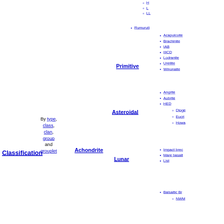H
L
LL
Rumuruti
Primitive
Acapulcoite
Brachinite
IAB
IIICD
Lodranite
Ureilite
Winonaite
Asteroidal
Angrite
Aubrite
HED
Diogenite
Eucrite
Howardite
Impact breccia
Mare basalt
List
Balsaltic Breccia
NWA...
Achondrite
Lunar
By type, class, clan, group and grouplet
Classification